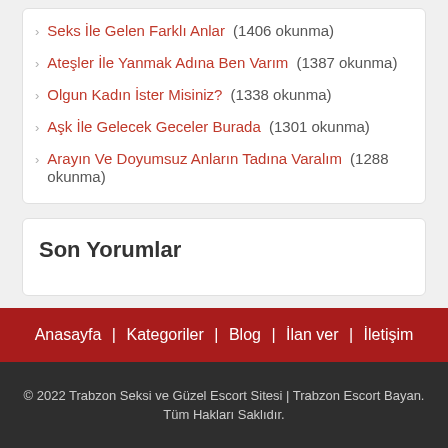Seks İle Gelen Farklı Anlar (1406 okunma)
Ateşler İle Yanmak Adına Ben Varım (1387 okunma)
Olgun Kadın İster Misiniz? (1338 okunma)
Aşk İle Gelecek Geceler Burada (1301 okunma)
Arayın Ve Doyumsuz Anların Tadına Varalım (1288 okunma)
Son Yorumlar
Anasayfa | Kategoriler | Blog | İlan ver | İletişim
© 2022 Trabzon Seksi ve Güzel Escort Sitesi | Trabzon Escort Bayan. Tüm Hakları Saklıdır.